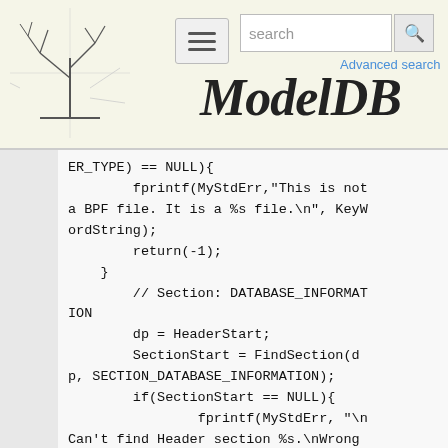[Figure (screenshot): ModelDB website header with logo (tree/neuron illustration), hamburger menu icon, search box with 'search' placeholder and magnifier button, 'Advanced search' link, and 'ModelDB' italic title text on a cream background]
ER_TYPE) == NULL){
        fprintf(MyStdErr,"This is not a BPF file. It is a %s file.\n", KeyWordString);
        return(-1);
    }
        // Section: DATABASE_INFORMATION
        dp = HeaderStart;
        SectionStart = FindSection(dp, SECTION_DATABASE_INFORMATION);
        if(SectionStart == NULL){
                fprintf(MyStdErr, "\nCan't find Header section %s.\nWrong File Format.\n", SECTION_DATABASE_INFORMATION);
                return(-1);
        }

        dp = SectionStart;